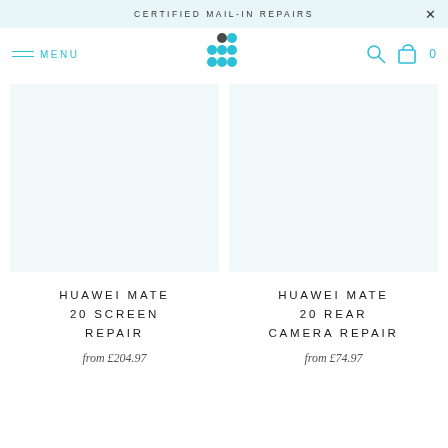CERTIFIED MAIL-IN REPAIRS
[Figure (logo): Blue dots logo arranged in a cluster pattern]
HUAWEI MATE 20 SCREEN REPAIR
from £204.97
HUAWEI MATE 20 REAR CAMERA REPAIR
from £74.97